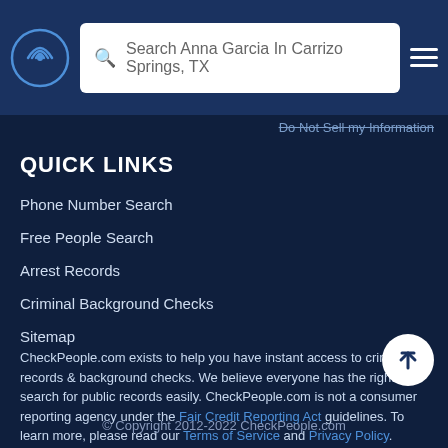Search Anna Garcia In Carrizo Springs, TX
Do Not Sell my Information
QUICK LINKS
Phone Number Search
Free People Search
Arrest Records
Criminal Background Checks
Sitemap
CheckPeople.com exists to help you have instant access to criminal records & background checks. We believe everyone has the right to search for public records easily. CheckPeople.com is not a consumer reporting agency under the Fair Credit Reporting Act guidelines. To learn more, please read our Terms of Service and Privacy Policy.
© Copyright 2012-2022 CheckPeople.com